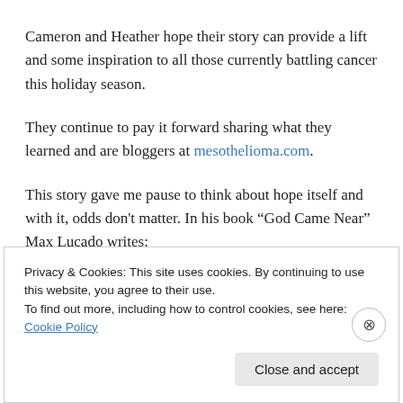Cameron and Heather hope their story can provide a lift and some inspiration to all those currently battling cancer this holiday season.
They continue to pay it forward sharing what they learned and are bloggers at mesothelioma.com.
This story gave me pause to think about hope itself and with it, odds don't matter. In his book “God Came Near” Max Lucado writes:
Privacy & Cookies: This site uses cookies. By continuing to use this website, you agree to their use.
To find out more, including how to control cookies, see here: Cookie Policy